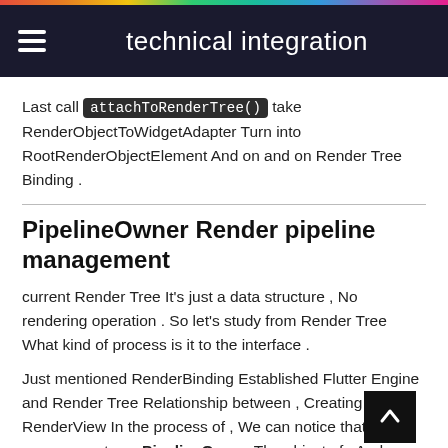technical integration
Last call attachToRenderTree() take RenderObjectToWidgetAdapter Turn into RootRenderObjectElement And on and on Render Tree Binding .
PipelineOwner Render pipeline management
current Render Tree It's just a data structure , No rendering operation . So let's study from Render Tree What kind of process is it to the interface .
Just mentioned RenderBinding Established Flutter Engine and Render Tree Relationship between , Creating RenderView In the process of , We can notice that it also creates a PipelineOwner The object of , And setting up renderView Will also RenderView Assigned to it rootNode .